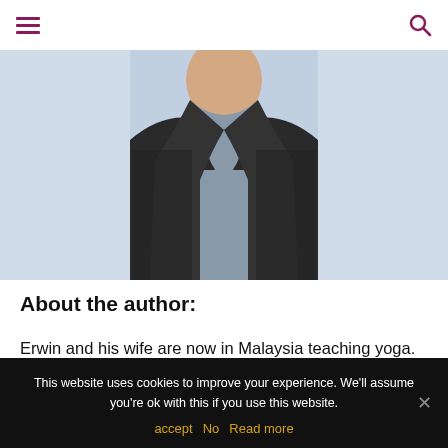≡  🔍
[Figure (photo): Cropped photo of a man wearing a dark cardigan over a light grey tank top, photo cut below the face/chin area showing neck and upper torso]
About the author:
Erwin and his wife are now in Malaysia teaching yoga. After that?  Only the universe knows what's next.( I think I just saw some pictures from Sri Lanka on their
This website uses cookies to improve your experience. We'll assume you're ok with this if you use this website. accept  No  Read more